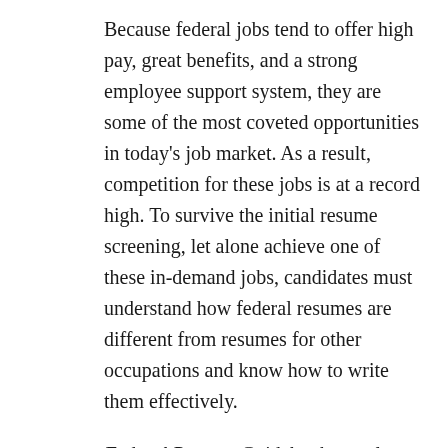Because federal jobs tend to offer high pay, great benefits, and a strong employee support system, they are some of the most coveted opportunities in today's job market. As a result, competition for these jobs is at a record high. To survive the initial resume screening, let alone achieve one of these in-demand jobs, candidates must understand how federal resumes are different from resumes for other occupations and know how to write them effectively.
Federal Resume Guidebook reveals this essential information and much more. Recently, the Hiring Reform Initiative completely changed the federal hiring process. The new edition of this best-selling book explains these new processes and procedures and teaches people how to write winning federal resumes.